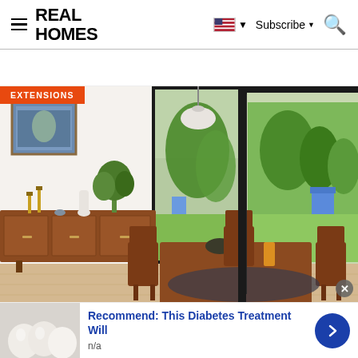Real Homes — Subscribe, Search
[Figure (photo): Interior photo of a modern dining room extension with large floor-to-ceiling glass sliding doors opening to a garden. Mid-century modern wooden sideboard on the left with plants and decor. Dining table with wooden chairs in the center. Garden with trees visible through the glass. EXTENSIONS badge in orange top left.]
[Figure (photo): Advertisement card: white egg-shaped objects photo on left. Text: 'Recommend: This Diabetes Treatment Will' with 'n/a' below. Blue arrow button on right.]